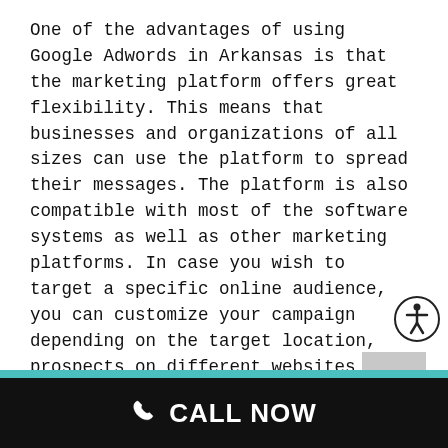One of the advantages of using Google Adwords in Arkansas is that the marketing platform offers great flexibility. This means that businesses and organizations of all sizes can use the platform to spread their messages. The platform is also compatible with most of the software systems as well as other marketing platforms. In case you wish to target a specific online audience, you can customize your campaign depending on the target location, prospects on different websites and prospects using certain devices.
It is faster and easier than SEO
While SEO is an important part of online
[Figure (other): Accessibility icon — a circle with a stick figure (person with arms outstretched)]
[Figure (other): Scroll-to-top button — grey square with a white upward chevron arrow]
CALL NOW